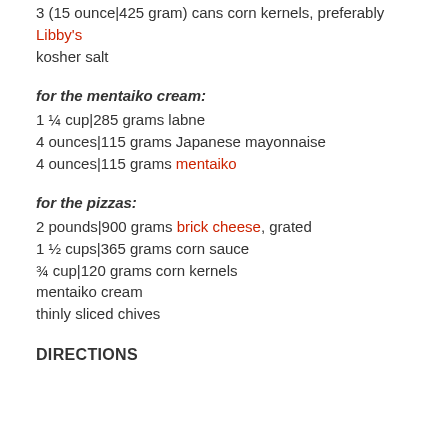3 (15 ounce|425 gram) cans corn kernels, preferably Libby's
kosher salt
for the mentaiko cream:
1 ¼ cup|285 grams labne
4 ounces|115 grams Japanese mayonnaise
4 ounces|115 grams mentaiko
for the pizzas:
2 pounds|900 grams brick cheese, grated
1 ½ cups|365 grams corn sauce
¾ cup|120 grams corn kernels
mentaiko cream
thinly sliced chives
DIRECTIONS